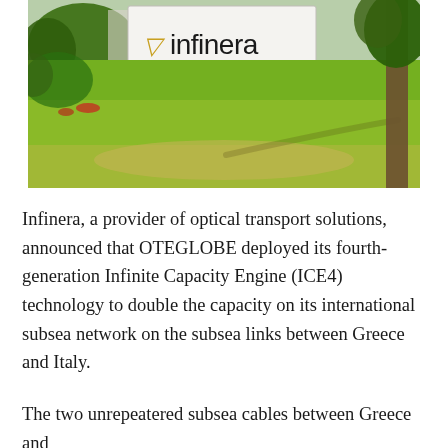[Figure (photo): Outdoor photo of an Infinera company sign reading 'infinera' with a stylized checkmark logo and '140 Caspian Court' below, set against a green lawn with trees in the background.]
Infinera, a provider of optical transport solutions, announced that OTEGLOBE deployed its fourth-generation Infinite Capacity Engine (ICE4) technology to double the capacity on its international subsea network on the subsea links between Greece and Italy.
The two unrepeatered subsea cables between Greece and